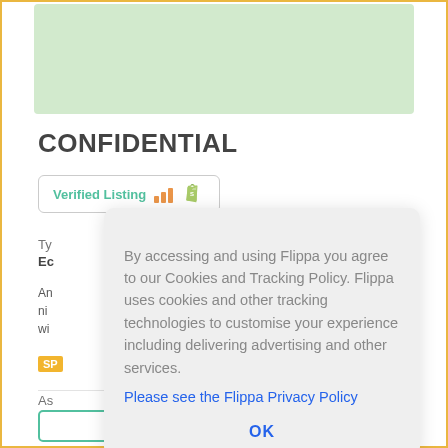[Figure (map): Light green map area thumbnail]
CONFIDENTIAL
[Figure (infographic): Verified Listing badge with bar chart icon and Shopify bag icon]
Ty
Ec
An ni wi
SP
As
$3
By accessing and using Flippa you agree to our Cookies and Tracking Policy. Flippa uses cookies and other tracking technologies to customise your experience including delivering advertising and other services.
Please see the Flippa Privacy Policy
OK